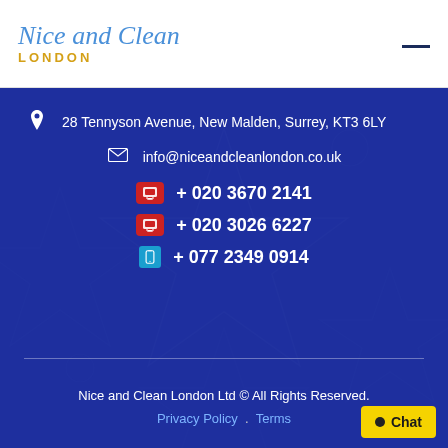Nice and Clean LONDON
28 Tennyson Avenue, New Malden, Surrey, KT3 6LY
info@niceandcleanlondon.co.uk
+ 020 3670 2141
+ 020 3026 6227
+ 077 2349 0914
Nice and Clean London Ltd © All Rights Reserved.
Privacy Policy  .  Terms